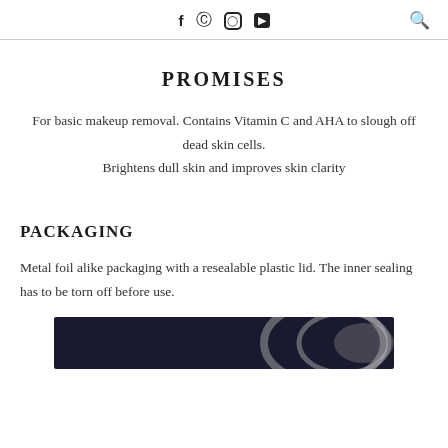f ⊕ ◎ ▶  🔍
PROMISES
For basic makeup removal. Contains Vitamin C and AHA to slough off dead skin cells.
Brightens dull skin and improves skin clarity
PACKAGING
Metal foil alike packaging with a resealable plastic lid. The inner sealing has to be torn off before use.
[Figure (photo): Dark background product packaging photo showing a lid or container in partial view]